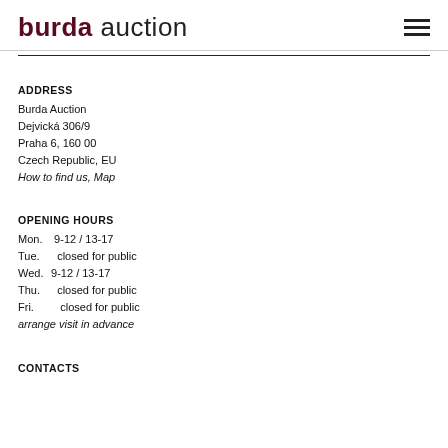burda auction
ADDRESS
Burda Auction
Dejvická 306/9
Praha 6, 160 00
Czech Republic, EU
How to find us, Map
OPENING HOURS
Mon.  9-12 / 13-17
Tue.  closed for public
Wed. 9-12 / 13-17
Thu.  closed for public
Fri.   closed for public
arrange visit in advance
CONTACTS